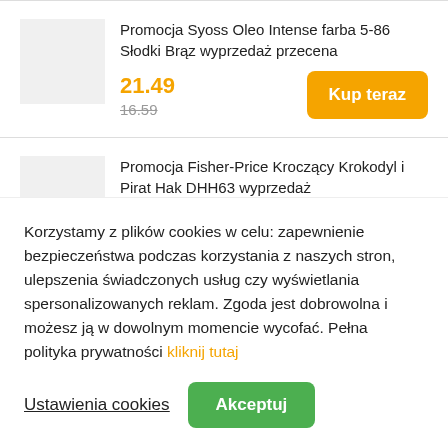Promocja Syoss Oleo Intense farba 5-86 Słodki Brąz wyprzedaż przecena
21.49
16.59
Kup teraz
Promocja Fisher-Price Kroczący Krokodyl i Pirat Hak DHH63 wyprzedaż przecena
Korzystamy z plików cookies w celu: zapewnienie bezpieczeństwa podczas korzystania z naszych stron, ulepszenia świadczonych usług czy wyświetlania spersonalizowanych reklam. Zgoda jest dobrowolna i możesz ją w dowolnym momencie wycofać. Pełna polityka prywatności kliknij tutaj
Ustawienia cookies
Akceptuj